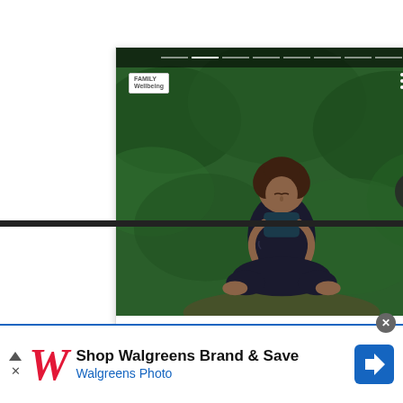[Figure (screenshot): Content recommendation card showing a woman meditating outdoors in lotus position among green foliage. Card has navigation dots at top, a logo badge top-left, three-dot menu and X close button top-right, a circular arrow button, and text overlay at bottom reading 'Modern NirvanaShares / 5Natural WaysTo Boost / YourWelness – 21Ninety']
[Figure (screenshot): Walgreens advertisement banner: 'Shop Walgreens Brand & Save / Walgreens Photo' with Walgreens W logo in red italic, a blue navigation arrow icon on right, and a close circle button top-right. Has Ad indicator triangles on left.]